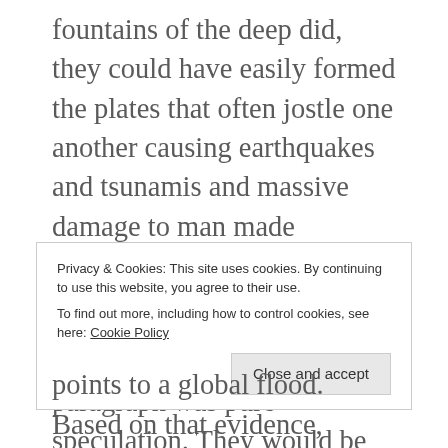fountains of the deep did, they could have easily formed the plates that often jostle one another causing earthquakes and tsunamis and massive damage to man made structures.
The keen observer will have noted that much of the above paragraph was pure speculation. They would be correct. No one living observed the flood and the few people who did observe it and survive, ie Noah and his family, were too busy staying afloat to take seismic readings or measure the temperature of the water around
Privacy & Cookies: This site uses cookies. By continuing to use this website, you agree to their use.
To find out more, including how to control cookies, see here: Cookie Policy
points to a global flood.  Based on that evidence,